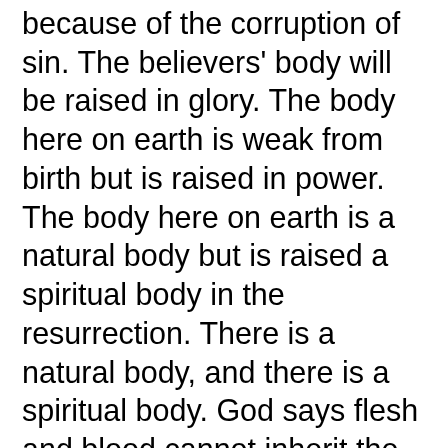because of the corruption of sin. The believers' body will be raised in glory. The body here on earth is weak from birth but is raised in power. The body here on earth is a natural body but is raised a spiritual body in the resurrection. There is a natural body, and there is a spiritual body. God says flesh and blood cannot inherit the kingdom of God, referring to the Eternal Kingdom in the Dispensation of the Fullness of Time, where neither corruption exists and where the redeemed inherited incorruption. A mystery for believers is that they will not be all dead when this transformation occurs, but all believers will be changed.